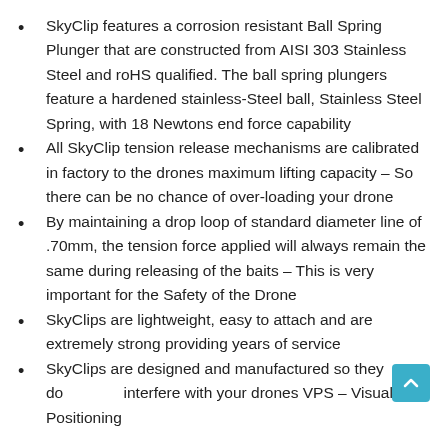SkyClip features a corrosion resistant Ball Spring Plunger that are constructed from AISI 303 Stainless Steel and roHS qualified. The ball spring plungers feature a hardened stainless-Steel ball, Stainless Steel Spring, with 18 Newtons end force capability
All SkyClip tension release mechanisms are calibrated in factory to the drones maximum lifting capacity – So there can be no chance of over-loading your drone
By maintaining a drop loop of standard diameter line of .70mm, the tension force applied will always remain the same during releasing of the baits – This is very important for the Safety of the Drone
SkyClips are lightweight, easy to attach and are extremely strong providing years of service
SkyClips are designed and manufactured so they do interfere with your drones VPS – Visual Positioning